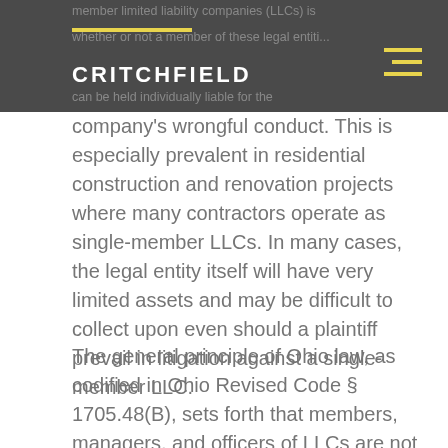member limited liability companies (LLCs) is whether or not a member of these legal entities can be held individually liable for the
company's wrongful conduct. This is especially prevalent in residential construction and renovation projects where many contractors operate as single-member LLCs. In many cases, the legal entity itself will have very limited assets and may be difficult to collect upon even should a plaintiff prevail in litigation against a single-member LLC.
The general principle of Ohio law, as codified in Ohio Revised Code § 1705.48(B), sets forth that members, managers, and officers of LLCs are not held personally liable for the debts, obligations, or liabilities of the company solely by reason of